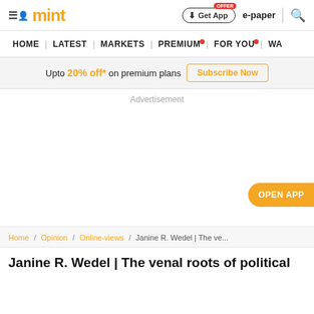mint — Get App | e-paper | search
HOME | LATEST | MARKETS | PREMIUM | FOR YOU | WA...
Upto 20% off* on premium plans — Subscribe Now
Advertisement
OPEN APP
Home / Opinion / Online-views / Janine R. Wedel | The ve...
Janine R. Wedel | The venal roots of political